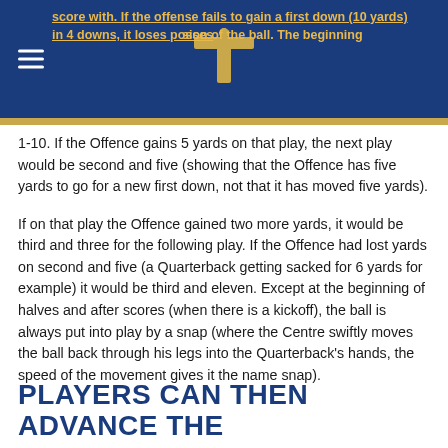score with. If the offense fails to gain a first down (10 yards) in 4 downs, it loses possession of the ball. The beginning
1-10. If the Offence gains 5 yards on that play, the next play would be second and five (showing that the Offence has five yards to go for a new first down, not that it has moved five yards).
If on that play the Offence gained two more yards, it would be third and three for the following play. If the Offence had lost yards on second and five (a Quarterback getting sacked for 6 yards for example) it would be third and eleven. Except at the beginning of halves and after scores (when there is a kickoff), the ball is always put into play by a snap (where the Centre swiftly moves the ball back through his legs into the Quarterback's hands, the speed of the movement gives it the name snap).
PLAYERS CAN THEN ADVANCE THE